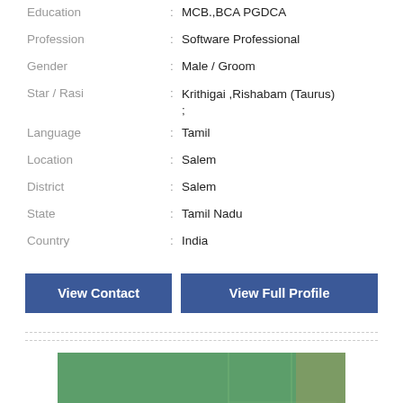Education : MCB.,BCA PGDCA
Profession : Software Professional
Gender : Male / Groom
Star / Rasi : Krithigai ,Rishabam (Taurus) ;
Language : Tamil
Location : Salem
District : Salem
State : Tamil Nadu
Country : India
View Contact | View Full Profile
[Figure (photo): Photo of a young man wearing glasses and a light grey/white shirt, standing in front of a green background with light wooden panels visible]